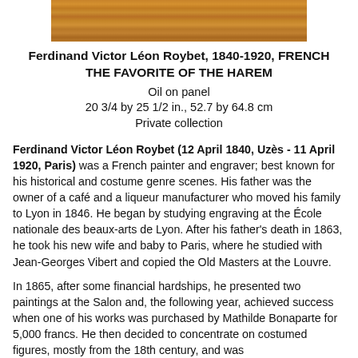[Figure (photo): Partial view of a colorful painting showing figures, cropped at top of page]
Ferdinand Victor Léon Roybet, 1840-1920, FRENCH
THE FAVORITE OF THE HAREM
Oil on panel
20 3/4 by 25 1/2 in., 52.7 by 64.8 cm
Private collection
Ferdinand Victor Léon Roybet (12 April 1840, Uzès - 11 April 1920, Paris) was a French painter and engraver; best known for his historical and costume genre scenes. His father was the owner of a café and a liqueur manufacturer who moved his family to Lyon in 1846. He began by studying engraving at the École nationale des beaux-arts de Lyon. After his father's death in 1863, he took his new wife and baby to Paris, where he studied with Jean-Georges Vibert and copied the Old Masters at the Louvre.
In 1865, after some financial hardships, he presented two paintings at the Salon and, the following year, achieved success when one of his works was purchased by Mathilde Bonaparte for 5,000 francs. He then decided to concentrate on costumed figures, mostly from the 18th century, and was